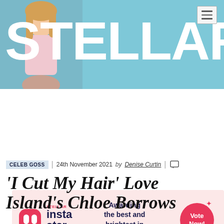[Figure (photo): Stellar magazine website header banner with light blue background. Large white bold 'STELLAR' logo text overlaying a photo of a blonde woman in a light pink top. Hamburger menu icon in top right corner.]
[Figure (infographic): Advertisement banner with pink background for Stellar Insta Star Awards 2022 featuring Hayu logo, text 'Awarding the best and brightest in Irish content', and a pink 'Vote Now!' circular button with sparkle decorations.]
CELEB GOSS | 24th November 2021 by Denise Curtin |
'I Cut My Hair' Love Island's Chloe Borrows